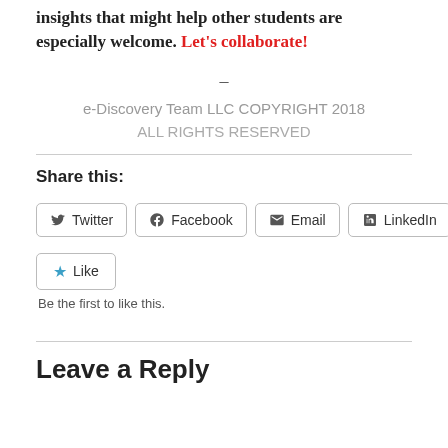insights that might help other students are especially welcome. Let's collaborate!
–
e-Discovery Team LLC COPYRIGHT 2018
ALL RIGHTS RESERVED
Share this:
Twitter  Facebook  Email  LinkedIn
Like  Be the first to like this.
Leave a Reply